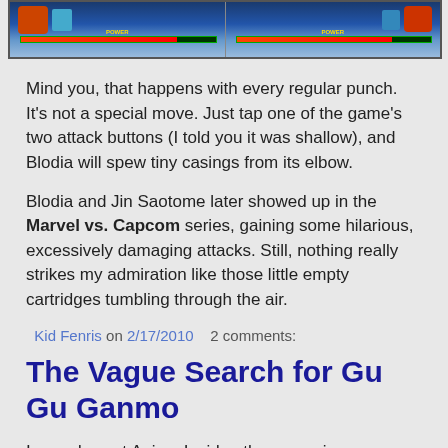[Figure (screenshot): Two side-by-side video game screenshots showing a fighting game with character sprites and power bars at the bottom]
Mind you, that happens with every regular punch. It’s not a special move. Just tap one of the game’s two attack buttons (I told you it was shallow), and Blodia will spew tiny casings from its elbow.
Blodia and Jin Saotome later showed up in the Marvel vs. Capcom series, gaining some hilarious, excessively damaging attacks. Still, nothing really strikes my admiration like those little empty cartridges tumbling through the air.
Kid Fenris on 2/17/2010   2 comments:
The Vague Search for Gu Gu Ganmo
In my days at Anime Insider, the magazine occasionally got letters from people trying to identify Japanese cartoons